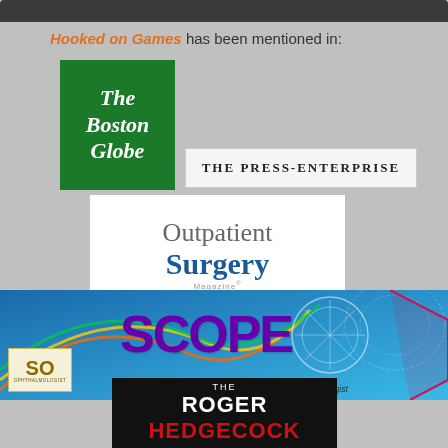Hooked on Games has been mentioned in:
[Figure (logo): The Boston Globe newspaper logo - white text on green background]
[Figure (logo): The Press-Enterprise newspaper logo - black text on white/light background]
[Figure (logo): Outpatient Surgery Magazine logo - gray and blue text on white background]
[Figure (logo): SCOPE - The Newsletter of the Senior Ophthalmologist, American Academy of Ophthalmology banner with blue gradient background]
[Figure (logo): The Roger Hedgecock show logo - white and red text on black background]